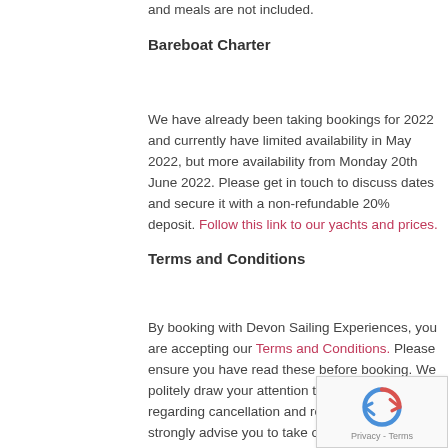and meals are not included.
Bareboat Charter
We have already been taking bookings for 2022 and currently have limited availability in May 2022, but more availability from Monday 20th June 2022. Please get in touch to discuss dates and secure it with a non-refundable 20% deposit. Follow this link to our yachts and prices.
Terms and Conditions
By booking with Devon Sailing Experiences, you are accepting our Terms and Conditions. Please ensure you have read these before booking. We politely draw your attention to the paragraph regarding cancellation and rescheduling and strongly advise you to take out travel insurance to